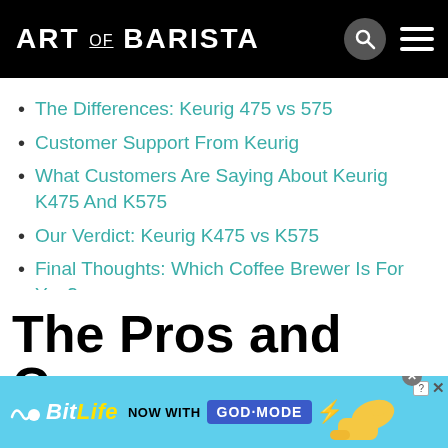ART OF BARISTA
The Differences: Keurig 475 vs 575
Customer Support From Keurig
What Customers Are Saying About Keurig K475 And K575
Our Verdict: Keurig K475 vs K575
Final Thoughts: Which Coffee Brewer Is For You?
The Pros and Cons: Keurig K575 vs K475
[Figure (screenshot): BitLife advertisement banner: 'NOW WITH GOD MODE' with blue button, lightning bolt, and hand/thumb graphic on light blue background]